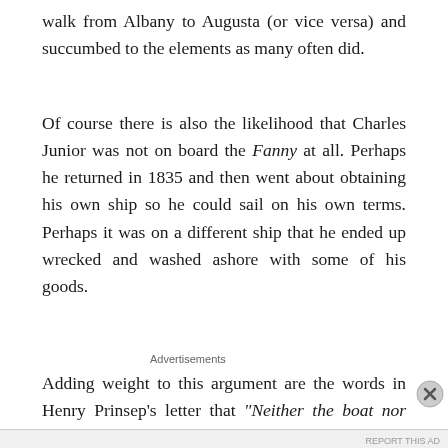walk from Albany to Augusta (or vice versa) and succumbed to the elements as many often did.
Of course there is also the likelihood that Charles Junior was not on board the Fanny at all. Perhaps he returned in 1835 and then went about obtaining his own ship so he could sail on his own terms. Perhaps it was on a different ship that he ended up wrecked and washed ashore with some of his goods.
Adding weight to this argument are the words in Henry Prinsep's letter that “Neither the boat nor Cass were ever seen again”. This means that not
[Figure (other): Advertisement banner with yellow background reading 'Share, Discuss, Collaborate, P2.' with 'Powered by' WordPress logo on the right side.]